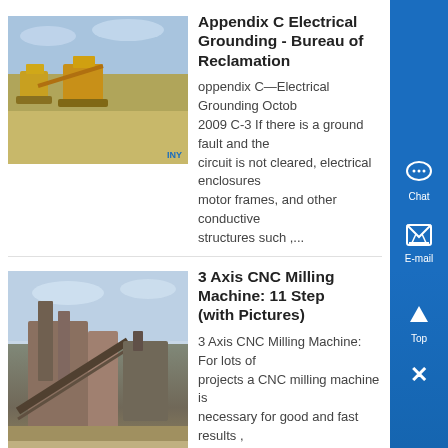[Figure (photo): Mining equipment in a desert landscape with yellow machinery and blue sky]
Appendix C Electrical Grounding - Bureau of Reclamation
Appendix C—Electrical Grounding October 2009 C-3 If there is a ground fault and the circuit is not cleared, electrical enclosures, motor frames, and other conductive structures such ,...
[Figure (photo): Mining crusher or processing plant with industrial machinery and building structures]
3 Axis CNC Milling Machine: 11 Steps (with Pictures)
3 Axis CNC Milling Machine: For lots of projects a CNC milling machine is necessary for good and fast results , (normally there is no separated grounding needed, because the spindle should be grounded) Add Tip Ask Question Comment Download , Thats why I have